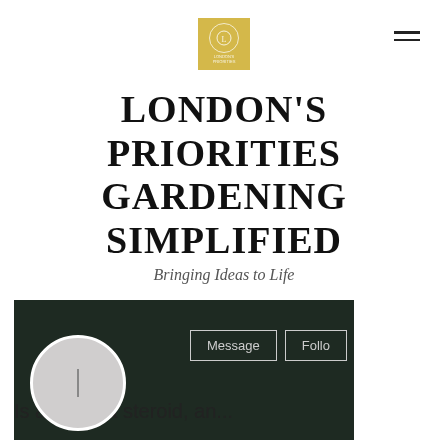[Figure (logo): Gold/yellow square logo with circular emblem and small text underneath]
LONDON'S PRIORITIES GARDENING SIMPLIFIED
Bringing Ideas to Life
[Figure (screenshot): Social media profile card with dark background, circular avatar, Message and Follow buttons]
Is anvarol a steroid, an...